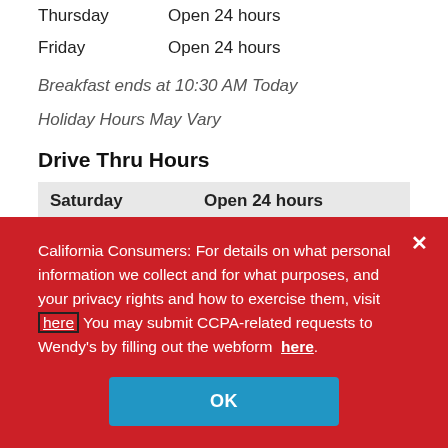Thursday    Open 24 hours
Friday    Open 24 hours
Breakfast ends at 10:30 AM Today
Holiday Hours May Vary
Drive Thru Hours
| Day | Hours |
| --- | --- |
| Saturday | Open 24 hours |
| Sunday | Open 24 hours |
| Monday | Open 24 hours |
| Tuesday | Open 24 hours |
California Consumers: For details on what personal information we collect and for what purposes, and your privacy rights and how to exercise them, visit here You may submit CCPA-related requests to Wendy's by filling out the webform here.